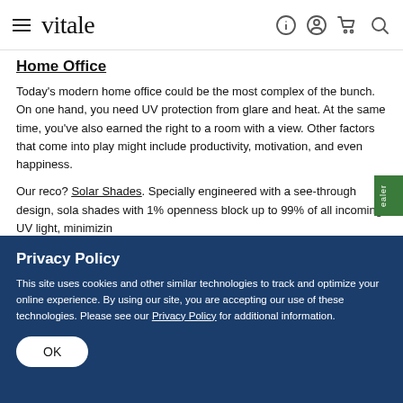vitale — navigation bar with hamburger menu and icons
Home Office
Today's modern home office could be the most complex of the bunch. On one hand, you need UV protection from glare and heat. At the same time, you've also earned the right to a room with a view. Other factors that come into play might include productivity, motivation, and even happiness.
Our reco? Solar Shades. Specially engineered with a see-through design, solar shades with 1% openness block up to 99% of all incoming UV light, minimizing glare and protecting your furniture—all without ruining your view.
Privacy Policy
This site uses cookies and other similar technologies to track and optimize your online experience. By using our site, you are accepting our use of these technologies. Please see our Privacy Policy for additional information.
OK